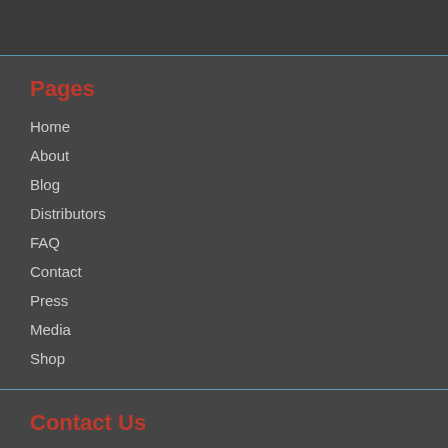Pages
Home
About
Blog
Distributors
FAQ
Contact
Press
Media
Shop
Contact Us
+44 (0)20 8595 7836
enquiries@shantys.com
3-4 Coppen Road, Dagenham, Essex, RM8 1HL